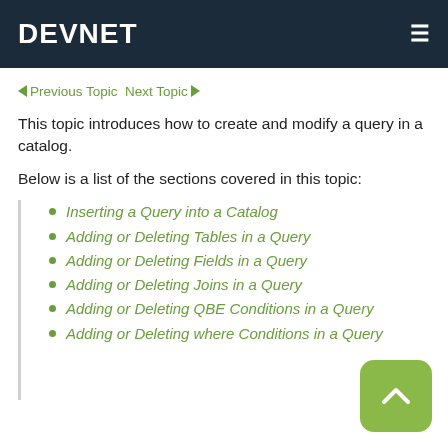DEVNET
← Previous Topic  Next Topic →
This topic introduces how to create and modify a query in a catalog.
Below is a list of the sections covered in this topic:
Inserting a Query into a Catalog
Adding or Deleting Tables in a Query
Adding or Deleting Fields in a Query
Adding or Deleting Joins in a Query
Adding or Deleting QBE Conditions in a Query
Adding or Deleting where Conditions in a Query